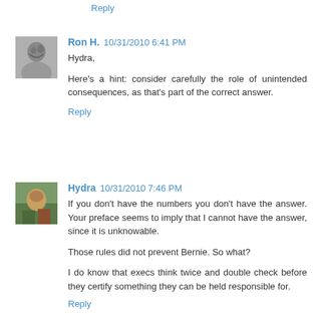Reply
Ron H.  10/31/2010 6:41 PM
Hydra,

Here's a hint: consider carefully the role of unintended consequences, as that's part of the correct answer.
Reply
Hydra  10/31/2010 7:46 PM
If you don't have the numbers you don't have the answer. Your preface seems to imply that I cannot have the answer, since it is unknowable.

Those rules did not prevent Bernie. So what?

I do know that execs think twice and double check before they certify something they can be held responsible for.
Reply